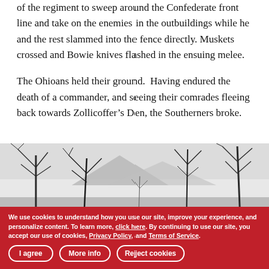of the regiment to sweep around the Confederate front line and take on the enemies in the outbuildings while he and the rest slammed into the fence directly. Muskets crossed and Bowie knives flashed in the ensuing melee.
The Ohioans held their ground.  Having endured the death of a commander, and seeing their comrades fleeing back towards Zollicoffer’s Den, the Southerners broke.
[Figure (illustration): Black and white engraving/illustration of a winter or bare-tree landscape with leafless trees in the foreground and mountains or hills in the background under a cloudy sky.]
We use cookies to understand how you use our site, improve your experience, and personalize content. To learn more, click here. By continuing to use our site, you accept our use of cookies, Privacy Policy, and Terms of Service.